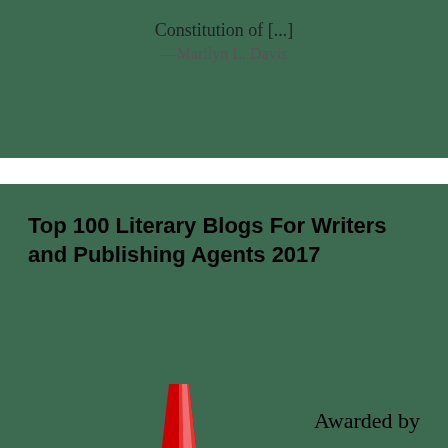Constitution of [...]
—Marilyn L. Davis
Top 100 Literary Blogs For Writers and Publishing Agents 2017
[Figure (illustration): Gold medal with red ribbon awarded for Top 100 Literary Blog, with text 'AWARDED TOP 100 LITERARY BLOG' and a trophy icon]
Awarded by